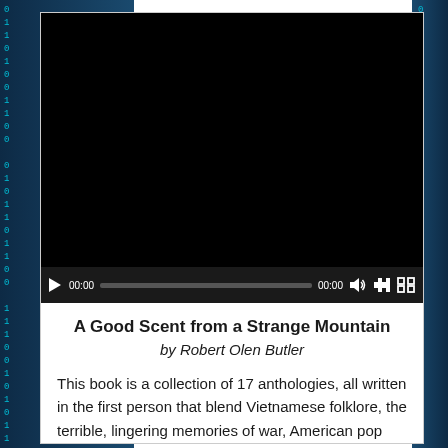[Figure (screenshot): Video player with black screen showing no content loaded, with playback controls at bottom including play button, time display 00:00, progress bar, end time 00:00, volume icon, and fullscreen icon.]
A Good Scent from a Strange Mountain
by Robert Olen Butler
This book is a collection of 17 anthologies, all written in the first person that blend Vietnamese folklore, the terrible, lingering memories of war, American pop...